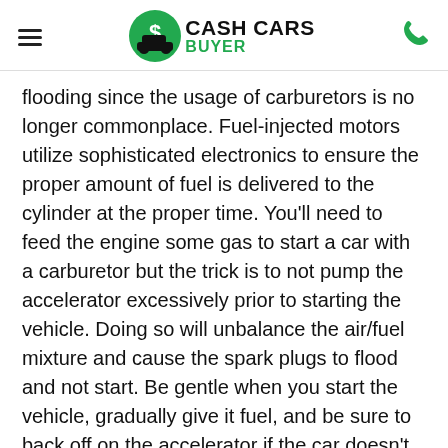Cash Cars Buyer
flooding since the usage of carburetors is no longer commonplace. Fuel-injected motors utilize sophisticated electronics to ensure the proper amount of fuel is delivered to the cylinder at the proper time. You'll need to feed the engine some gas to start a car with a carburetor but the trick is to not pump the accelerator excessively prior to starting the vehicle. Doing so will unbalance the air/fuel mixture and cause the spark plugs to flood and not start. Be gentle when you start the vehicle, gradually give it fuel, and be sure to back off on the accelerator if the car doesn't start right up.